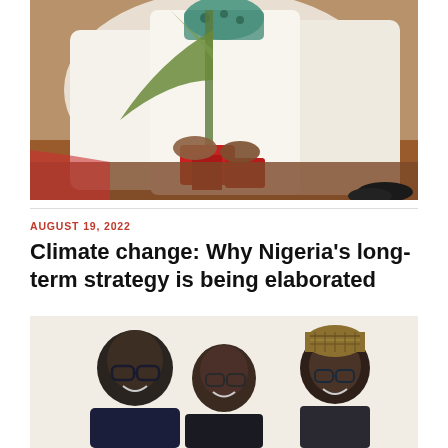[Figure (photo): Photo of people in white traditional clothing planting a tree with red plastic bag/wrapping around the roots, outdoors on reddish-brown soil]
AUGUST 19, 2022
Climate change: Why Nigeria’s long-term strategy is being elaborated
[Figure (photo): Selfie photo of three smiling people indoors: a man on the left in a dark shirt wearing glasses, a woman in the middle wearing glasses, and a man on the right wearing a patterned cap and glasses]